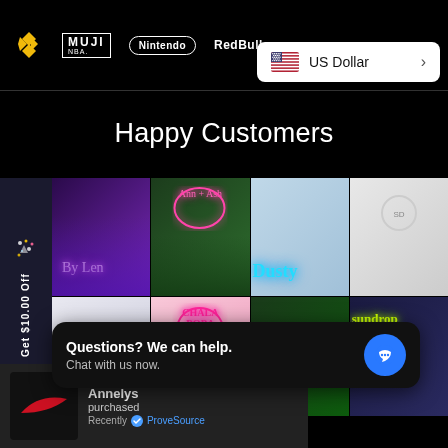[Figure (screenshot): Top navigation bar on black background showing brand logos: Binance diamond logo, MUJI NBA, Nintendo (in rounded rectangle), Red Bull, and other partially visible logos]
[Figure (screenshot): Currency selector dropdown showing US flag emoji and 'US Dollar' text with right arrow, on white rounded background]
Happy Customers
[Figure (photo): Sidebar promo element with confetti/party icon and vertical text 'Get $10.00 Off']
[Figure (photo): Grid of 8 customer photos showing neon signs and people: row 1 - purple yoga/fitness photo with neon cursive text, green wall with pink neon circle sign reading 'Ann + Ash', blue-toned photo of smiling girl with 'Dusty' neon script, white studio photo with person; row 2 - white room with circular hanging element, pink background with 'Chala Boba' heart neon sign, green background with 'Hello Neighbour' neon, dark background with yellow 'sundrop' neon and girl]
[Figure (screenshot): Chat widget popup on dark background with text 'Questions? We can help. Chat with us now.' and blue circle chat button]
[Figure (screenshot): ProveSource notification card showing Nike red swoosh logo on black square, with name 'Annelys' who 'purchased' recently, with blue ProveSource badge]